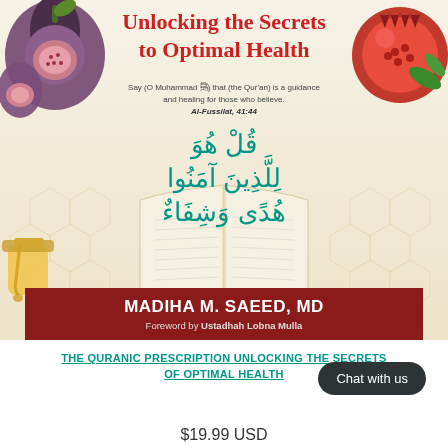[Figure (illustration): Book cover of 'The Quranic Prescription: Unlocking the Secrets to Optimal Health' by Madiha M. Saeed, MD. Features an open Quran on a wooden stand, Arabic calligraphy in teal, decorative figs and pomegranate fruits, honeycomb patterns, honey jar, and a dark red author banner.]
Unlocking the Secrets to Optimal Health
Say (O Muhammad ﷺ) that (the Qur'an) is a guidance and healing for those who believe.
Al-Fussilat, 41:44
MADIHA M. SAEED, MD
Foreword by Ustadhah Lobna Mulla
THE QURANIC PRESCRIPTION UNLOCKING THE SECRETS OF OPTIMAL HEALTH
Chat with us
$19.99 USD